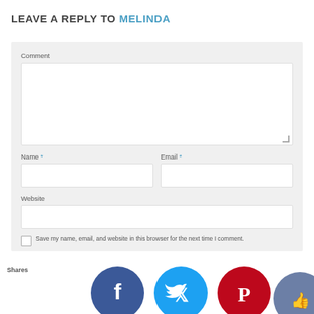LEAVE A REPLY TO MELINDA
Comment
Name *
Email *
Website
Save my name, email, and website in this browser for the next time I comment.
Shares